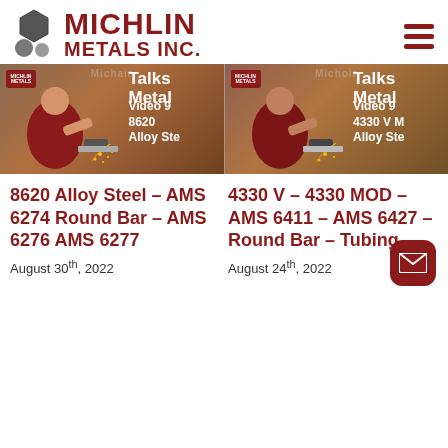[Figure (logo): Michlin Metals Inc. logo with hexagon/circle icon and red text]
[Figure (screenshot): Two video thumbnail images side by side showing metalworking/sparks with overlay text: Talks Metal, Video 9, 8620 Alloy Ste | Talks Metal, Video 9, 4330 V M, Alloy Ste]
8620 Alloy Steel – AMS 6274 Round Bar – AMS 6276 AMS 6277
4330 V – 4330 MOD – AMS 6411 – AMS 6427 – Round Bar – Tubing
August 30th, 2022
August 24th, 2022